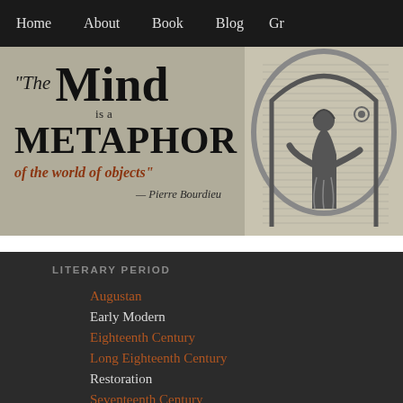Home   About   Book   Blog   Gr…
[Figure (illustration): Left panel: Gray background quote reading 'The Mind is a METAPHOR of the world of objects' — Pierre Bourdieu. Right panel: Black and white engraving of a classical figure.]
LITERARY PERIOD
Augustan
Early Modern
Eighteenth Century
Long Eighteenth Century
Restoration
Seventeenth Century
METAPHOR CATEGORY